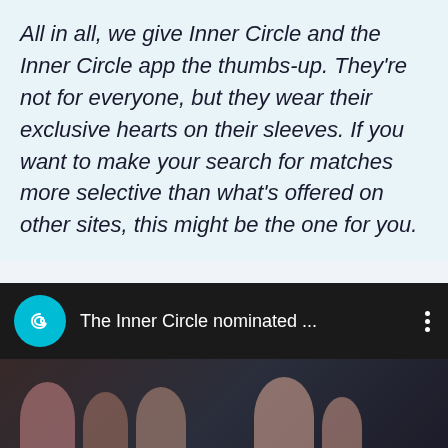All in all, we give Inner Circle and the Inner Circle app the thumbs-up. They're not for everyone, but they wear their exclusive hearts on their sleeves. If you want to make your search for matches more selective than what's offered on other sites, this might be the one for you.
[Figure (screenshot): A dark video/notification bar showing a circular teal icon with a spiral symbol, text 'The Inner Circle nominated ...' in white, a three-dot menu icon, and a dark thumbnail image below showing blurred figures.]